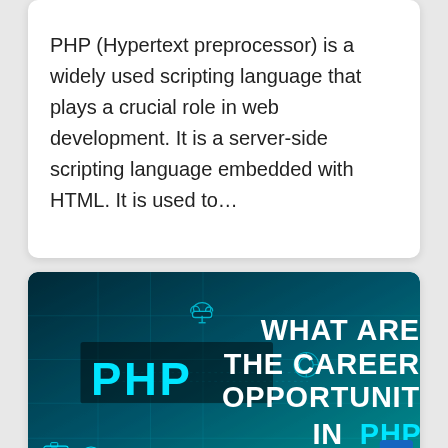PHP (Hypertext preprocessor) is a widely used scripting language that plays a crucial role in web development. It is a server-side scripting language embedded with HTML. It is used to…
[Figure (illustration): Promotional banner image with teal/dark background showing the text 'WHAT ARE THE CAREER OPPORTUNITIES IN PHP' in bold white letters with 'PHP' in cyan on left side and 'PHP' in cyan at bottom right. Features circuit board decorative elements and tech icons.]